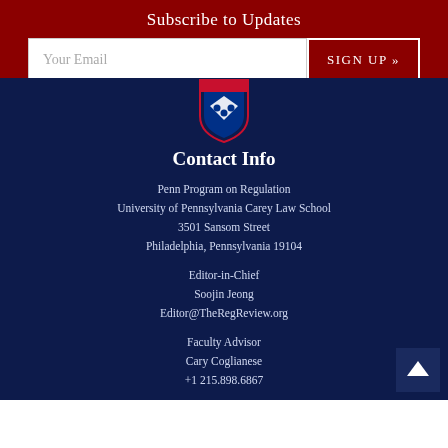Subscribe to Updates
Your Email | SIGN UP »
[Figure (logo): University of Pennsylvania shield logo]
Contact Info
Penn Program on Regulation
University of Pennsylvania Carey Law School
3501 Sansom Street
Philadelphia, Pennsylvania 19104
Editor-in-Chief
Soojin Jeong
Editor@TheRegReview.org
Faculty Advisor
Cary Coglianese
+1 215.898.6867